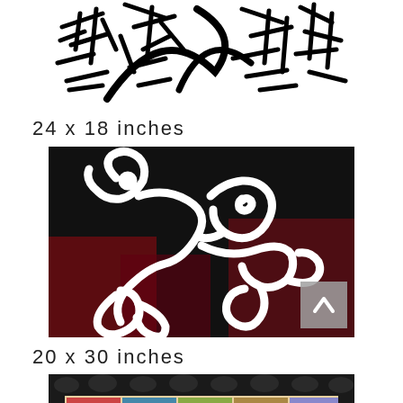[Figure (illustration): Abstract black and white artwork with bold intersecting lines and marks on white background, cropped at top]
24 x 18 inches
[Figure (illustration): Abstract artwork on black and dark red background with flowing white line figure/creature form]
20 x 30 inches
[Figure (illustration): Bottom artwork partially visible showing ornate black frame with colorful content inside]